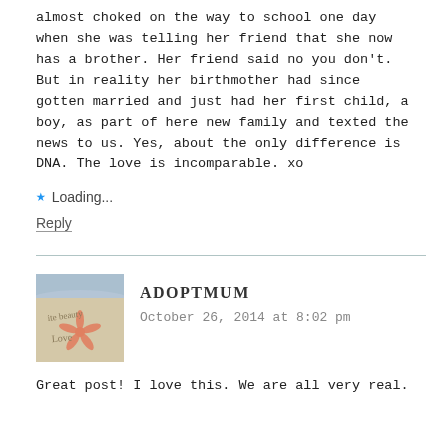almost choked on the way to school one day when she was telling her friend that she now has a brother. Her friend said no you don't. But in reality her birthmother had since gotten married and just had her first child, a boy, as part of here new family and texted the news to us. Yes, about the only difference is DNA. The love is incomparable. xo
★ Loading...
Reply
ADOPTMUM
October 26, 2014 at 8:02 pm
Great post! I love this. We are all very real.